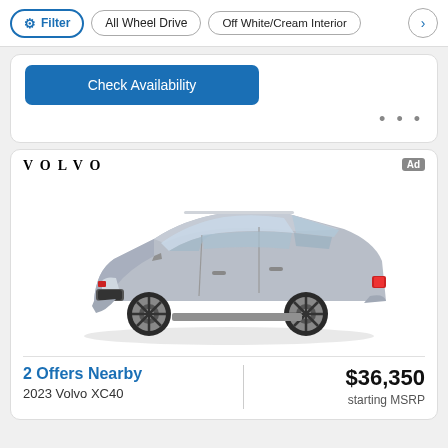Filter | All Wheel Drive | Off White/Cream Interior
Check Availability
[Figure (screenshot): Volvo XC40 SUV advertisement card showing a silver Volvo XC40 SUV with Volvo logo, Ad badge, 2 Offers Nearby text, 2023 Volvo XC40 model name, and $36,350 starting MSRP price]
2 Offers Nearby
2023 Volvo XC40
$36,350
starting MSRP